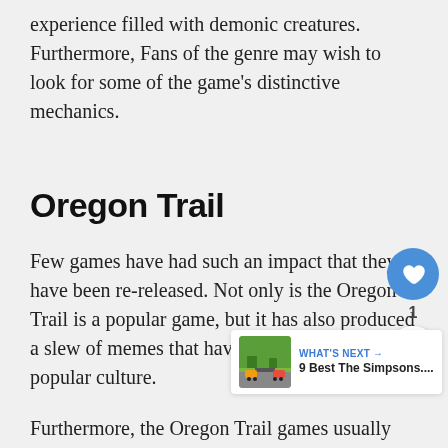experience filled with demonic creatures. Furthermore, Fans of the genre may wish to look for some of the game's distinctive mechanics.
Oregon Trail
Few games have had such an impact that they have been re-released. Not only is the Oregon Trail is a popular game, but it has also produced a slew of memes that have made their way into popular culture.
Furthermore, the Oregon Trail games usually have